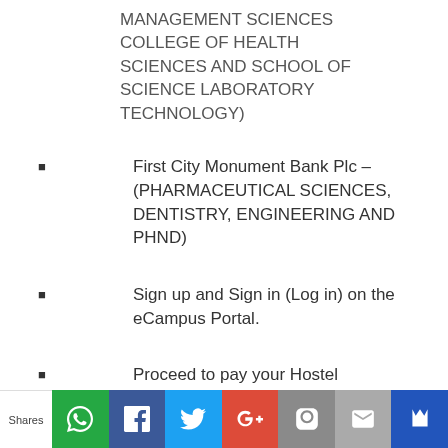MANAGEMENT SCIENCES COLLEGE OF HEALTH SCIENCES AND SCHOOL OF SCIENCE LABORATORY TECHNOLOGY)
First City Monument Bank Plc – (PHARMACEUTICAL SCIENCES, DENTISTRY, ENGINEERING AND PHND)
Sign up and Sign in (Log in) on the eCampus Portal.
Proceed to pay your Hostel Accommodation Fee in at the